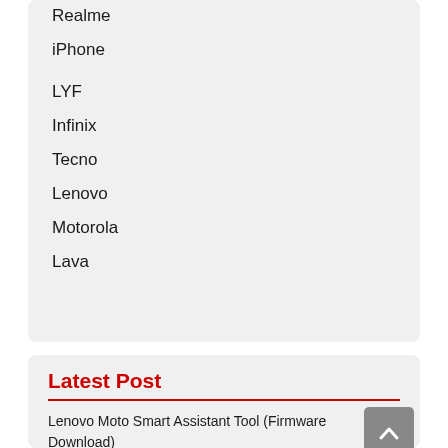Realme
iPhone
LYF
Infinix
Tecno
Lenovo
Motorola
Lava
Latest Post
Lenovo Moto Smart Assistant Tool (Firmware Download)
Addrom Bypass FRP APK 2022 Download (Direct Apps